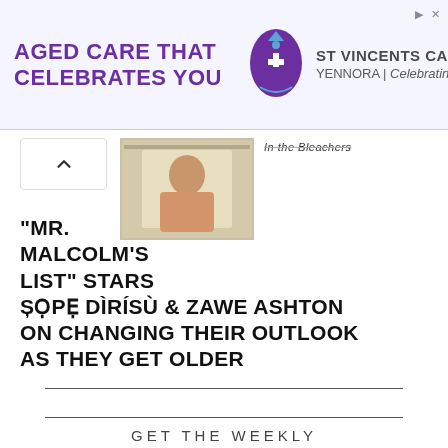[Figure (photo): Advertisement banner for St Vincents Care Yennora with purple logo and text 'AGED CARE THAT CELEBRATES YOU']
[Figure (photo): Thumbnail photo of a man (Sope Dirisu) seated indoors]
In the Bleachers
"MR. MALCOLM'S LIST" STARS ȘỌPẸ DÌRÍSÙ & ZAWE ASHTON ON CHANGING THEIR OUTLOOK AS THEY GET OLDER
GET THE WEEKLY REWIND!